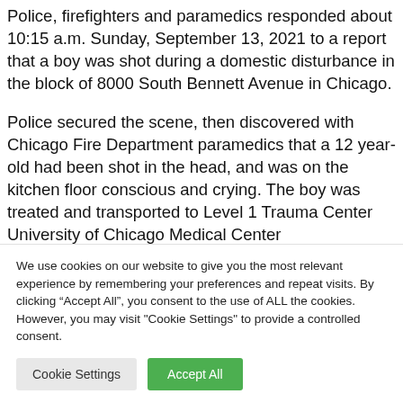Police, firefighters and paramedics responded about 10:15 a.m. Sunday, September 13, 2021 to a report that a boy was shot during a domestic disturbance in the block of 8000 South Bennett Avenue in Chicago.
Police secured the scene, then discovered with Chicago Fire Department paramedics that a 12 year-old had been shot in the head, and was on the kitchen floor conscious and crying. The boy was treated and transported to Level 1 Trauma Center University of Chicago Medical Center
We use cookies on our website to give you the most relevant experience by remembering your preferences and repeat visits. By clicking “Accept All”, you consent to the use of ALL the cookies. However, you may visit "Cookie Settings" to provide a controlled consent.